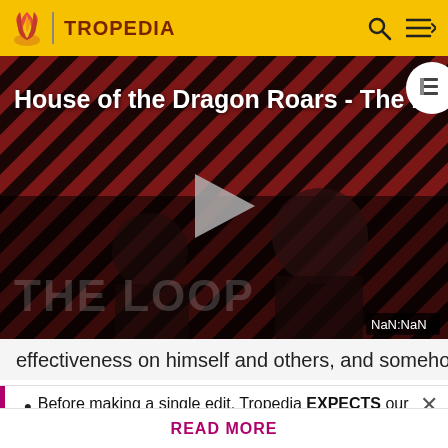TROPEDIA
[Figure (screenshot): Video thumbnail for 'House of the Dragon Roars - The L...' with diagonal red/dark striped background, two figures visible, a play button in center, 'THE LOOP' text watermark, and NaN:NaN duration badge.]
effectiveness on himself and others, and somehow
Before making a single edit, Tropedia EXPECTS our site policy and manual of style to be followed. Failure to do so may
READ MORE